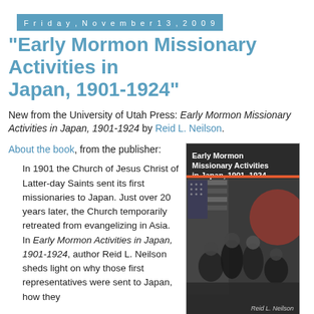Friday, November 13, 2009
"Early Mormon Missionary Activities in Japan, 1901-1924"
New from the University of Utah Press: Early Mormon Missionary Activities in Japan, 1901-1924 by Reid L. Neilson.
About the book, from the publisher:
In 1901 the Church of Jesus Christ of Latter-day Saints sent its first missionaries to Japan. Just over 20 years later, the Church temporarily retreated from evangelizing in Asia. In Early Mormon Activities in Japan, 1901-1924, author Reid L. Neilson sheds light on why those first representatives were sent to Japan, how they
[Figure (photo): Book cover of 'Early Mormon Missionary Activities in Japan, 1901-1924' by Reid L. Neilson, showing a group photograph of men in front of American and Japanese flags, dark background with white title text at top.]